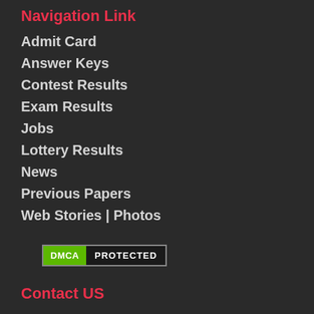Navigation Link
Admit Card
Answer Keys
Contest Results
Exam Results
Jobs
Lottery Results
News
Previous Papers
Web Stories | Photos
[Figure (logo): DMCA Protected badge with green DMCA label and dark PROTECTED text]
Contact US
E-Mail: admin@speedraftaar.com
maqbul233@gmail.com